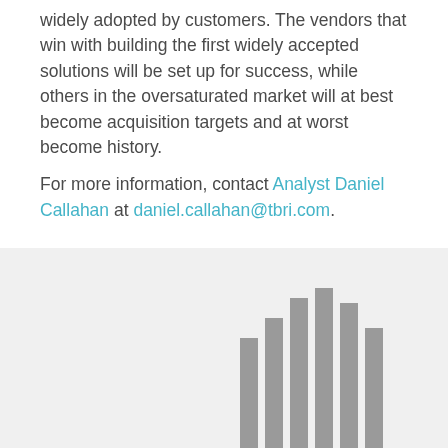widely adopted by customers. The vendors that win with building the first widely accepted solutions will be set up for success, while others in the oversaturated market will at best become acquisition targets and at worst become history.
For more information, contact Analyst Daniel Callahan at daniel.callahan@tbri.com.
[Figure (bar-chart): Partially visible bar chart with grey bars on a light grey background, only top portion visible]